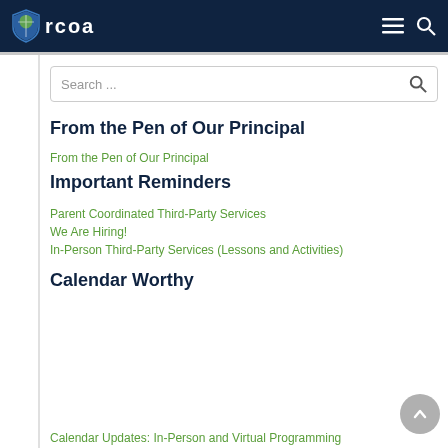rcoa
[Figure (screenshot): Search bar with search icon]
From the Pen of Our Principal
From the Pen of Our Principal
Important Reminders
Parent Coordinated Third-Party Services
We Are Hiring!
In-Person Third-Party Services (Lessons and Activities)
Calendar Worthy
Calendar Updates: In-Person and Virtual Programming